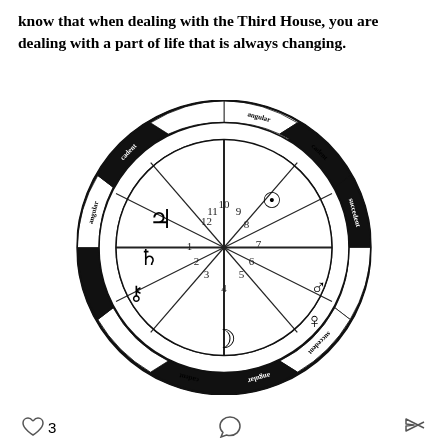know that when dealing with the Third House, you are dealing with a part of life that is always changing.
[Figure (other): Astrological wheel/chart divided into 12 houses with labels angular, succedent, cadent around the rim. Contains planetary symbols: Jupiter (4), Saturn-like symbol, Chiron/Uranus symbol, Moon crescent, Sun circle with dot, Mars arrow, Venus symbol. House numbers 1-12 are marked around the center. The rim segments alternate black and white with rotated text labels.]
♡ 3  ◯  ↪